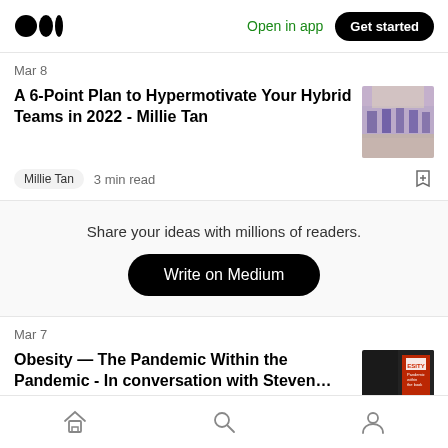Medium — Open in app — Get started
Mar 8
A 6-Point Plan to Hypermotivate Your Hybrid Teams in 2022 - Millie Tan
Millie Tan   3 min read
Share your ideas with millions of readers.
Write on Medium
Mar 7
Obesity — The Pandemic Within the Pandemic - In conversation with Steven…